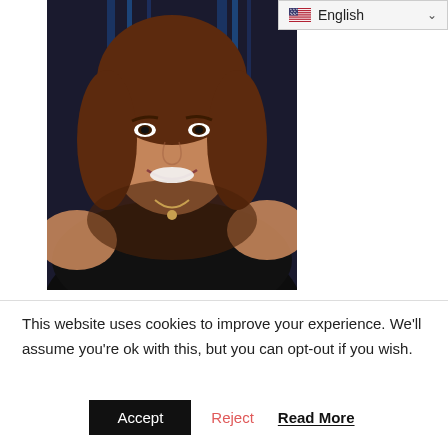[Figure (photo): A woman with curly brown hair wearing a black top, smiling at the camera in a selfie-style photo with a dark blue background.]
This website uses cookies to improve your experience. We'll assume you're ok with this, but you can opt-out if you wish.
Accept   Reject   Read More